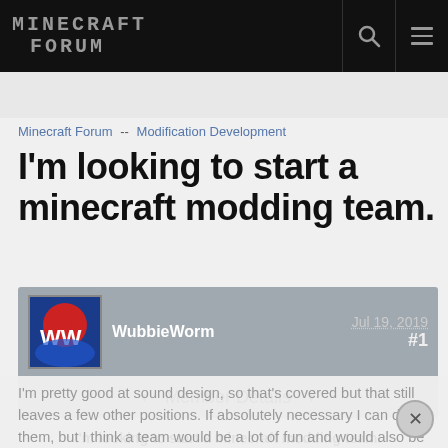MINECRAFT FORUM
Minecraft Forum  --  Modification Development
I'm looking to start a minecraft modding team.
WubbieWorm   Jul 19, 2019  #1
Member Details
I'm looking to start a minecraft modding team.
I'm pretty good at sound design, so that's covered but that still leaves a few other positions. If absolutely necessary I can do them, but I think a team would be a lot of fun and would also be